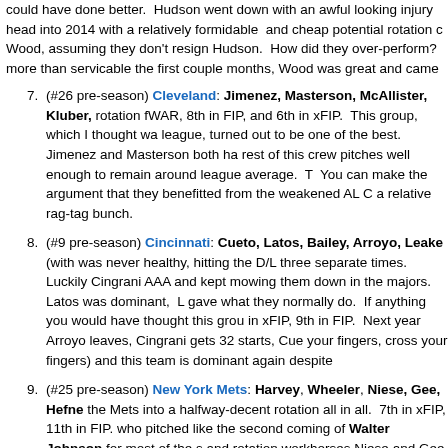could have done better. Hudson went down with an awful looking injury head into 2014 with a relatively formidable and cheap potential rotation c Wood, assuming they don't resign Hudson. How did they over-perform? more than servicable the first couple months, Wood was great and came
7. (#26 pre-season) Cleveland: Jimenez, Masterson, McAllister, Kluber, rotation fWAR, 8th in FIP, and 6th in xFIP. This group, which I thought wa league, turned out to be one of the best. Jimenez and Masterson both ha rest of this crew pitches well enough to remain around league average. You can make the argument that they benefitted from the weakened AL C a relative rag-tag bunch.
8. (#9 pre-season) Cincinnati: Cueto, Latos, Bailey, Arroyo, Leake (with was never healthy, hitting the D/L three separate times. Luckily Cingrani AAA and kept mowing them down in the majors. Latos was dominant, L gave what they normally do. If anything you would have thought this grou in xFIP, 9th in FIP. Next year Arroyo leaves, Cingrani gets 32 starts, Cu your fingers, cross your fingers) and this team is dominant again despite
9. (#25 pre-season) New York Mets: Harvey, Wheeler, Niese, Gee, Hefne the Mets into a halfway-decent rotation all in all. 7th in xFIP, 11th in FIP. who pitched like the second coming of Walter Johnson for most of the s and rotation workhorses Niese and Gee may not be sexy names, but the mark all year. One superstar plus 4 league average guys was good enou
10. (#12 pre-season) Texas: Darvish, Holland, Ogando, Perez, Garza at th the league … but their accompanying stats drag them down this far. Des ranging from 114 to Darvish' 145, the 34 starts given to Tepesch and Gri